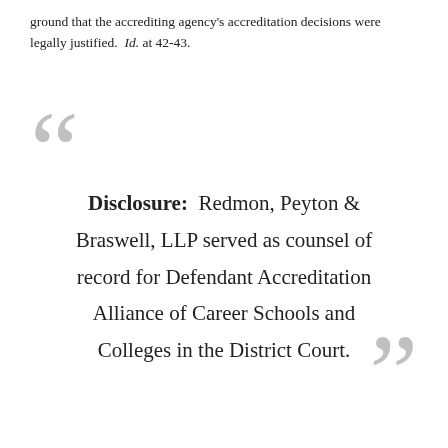ground that the accrediting agency's accreditation decisions were legally justified. Id. at 42-43.
Disclosure: Redmon, Peyton & Braswell, LLP served as counsel of record for Defendant Accreditation Alliance of Career Schools and Colleges in the District Court.